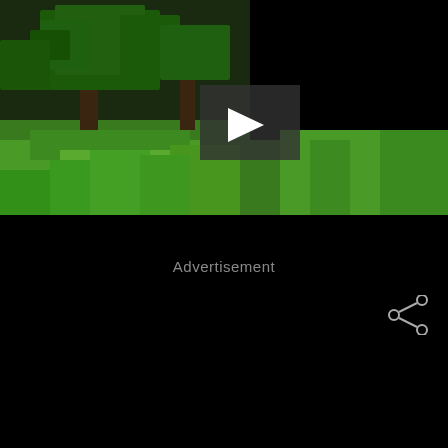[Figure (screenshot): Minecraft video thumbnail showing a green blocky landscape with trees, partially obscured by a dark overlay on the right side. A play button triangle is overlaid in the center of the video player.]
Advertisement
[Figure (other): Share icon (three connected circles) in the advertisement panel area]